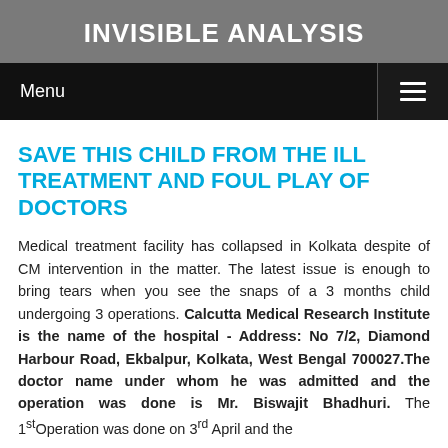INVISIBLE ANALYSIS
SAVE THIS CHILD FROM THE ILL TREATMENT AND FOUL PLAY OF DOCTORS
Medical treatment facility has collapsed in Kolkata despite of CM intervention in the matter. The latest issue is enough to bring tears when you see the snaps of a 3 months child undergoing 3 operations. Calcutta Medical Research Institute is the name of the hospital - Address: No 7/2, Diamond Harbour Road, Ekbalpur, Kolkata, West Bengal 700027.The doctor name under whom he was admitted and the operation was done is Mr. Biswajit Bhadhuri. The 1st Operation was done on 3rd April and the